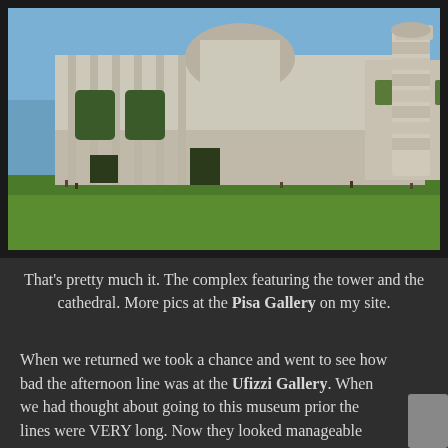[Figure (photo): Photograph of the Pisa Cathedral complex with the Leaning Tower of Pisa visible on the right side, green lawn in the foreground, blue sky background.]
That's pretty much it. The complex featuring the tower and the cathedral. More pics at the Pisa Gallery on my site.
When we returned we took a chance and went to see how bad the afternoon line was at the Ufizzi Gallery. When we had thought about going to this museum prior the lines were VERY long. Now they looked manageable and we didn't have to wait long before we were inside. The Ufizzi is one of the most famous museums of paintings and sculpture in the